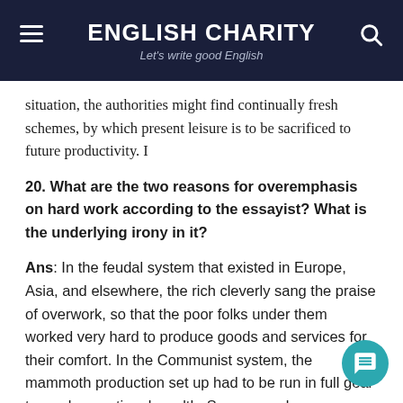ENGLISH CHARITY
Let's write good English
situation, the authorities might find continually fresh schemes, by which present leisure is to be sacrificed to future productivity. I
20. What are the two reasons for overemphasis on hard work according to the essayist? What is the underlying irony in it?
Ans: In the feudal system that existed in Europe, Asia, and elsewhere, the rich cleverly sang the praise of overwork, so that the poor folks under them worked very hard to produce goods and services for their comfort. In the Communist system, the mammoth production set up had to be run in full gear to produce national wealth. So, overwork was praised. Thus, communism and feudalism being the opposite of each